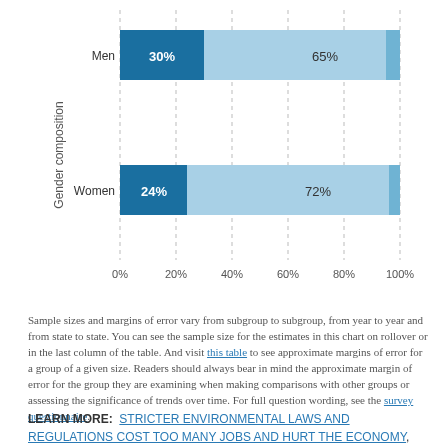[Figure (stacked-bar-chart): Gender composition]
Sample sizes and margins of error vary from subgroup to subgroup, from year to year and from state to state. You can see the sample size for the estimates in this chart on rollover or in the last column of the table. And visit this table to see approximate margins of error for a group of a given size. Readers should always bear in mind the approximate margin of error for the group they are examining when making comparisons with other groups or assessing the significance of trends over time. For full question wording, see the survey questionnaire.
LEARN MORE:  STRICTER ENVIRONMENTAL LAWS AND REGULATIONS COST TOO MANY JOBS AND HURT THE ECONOMY,  STRICTER